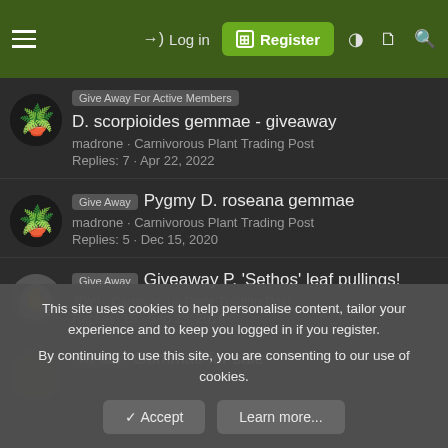Log in | Register
Give Away For Active Members | D. scorpioides gemmae - giveaway | madrone · Carnivorous Plant Trading Post | Replies: 7 · Apr 22, 2022
Give Away | Pygmy D. roseana gemmae | madrone · Carnivorous Plant Trading Post | Replies: 5 · Dec 15, 2020
Give Away | Giveaway P. 'Sethos' leaf pullings! | JDW · Carnivorous Plant Trading Post | Replies: 15 · Sep 23, 2018
For Sale | Gemmae for sale
This site uses cookies to help personalise content, tailor your experience and to keep you logged in if you register. By continuing to use this site, you are consenting to our use of cookies.
✓ Accept | Learn more...